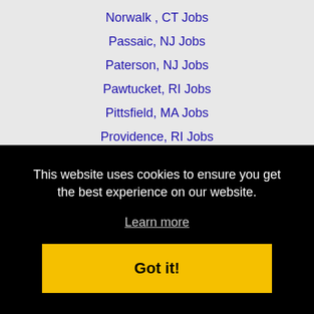Norwalk , CT Jobs
Passaic, NJ Jobs
Paterson, NJ Jobs
Pawtucket, RI Jobs
Pittsfield, MA Jobs
Providence, RI Jobs
Quincy, MA Jobs
Revere, MA Jobs
Somerville, MA Jobs
This website uses cookies to ensure you get the best experience on our website.
Learn more
Got it!
Waterbury, CT Jobs